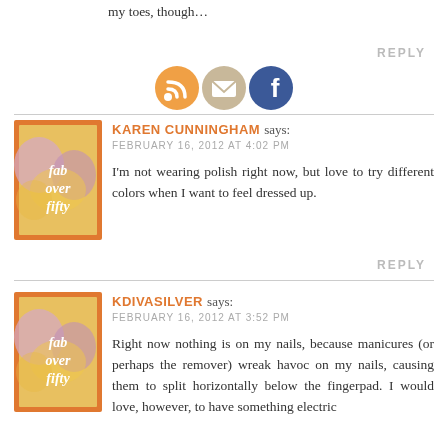my toes, though…
REPLY
[Figure (illustration): Three social media icons: RSS feed (orange circle), email/envelope (tan circle), Facebook (blue circle)]
KAREN CUNNINGHAM says:
FEBRUARY 16, 2012 AT 4:02 PM
[Figure (logo): Fab Over Fifty logo — orange bordered box with purple/yellow watercolor flowers and italic white text 'fab over fifty']
I'm not wearing polish right now, but love to try different colors when I want to feel dressed up.
REPLY
KDIVASILVER says:
FEBRUARY 16, 2012 AT 3:52 PM
[Figure (logo): Fab Over Fifty logo — orange bordered box with purple/yellow watercolor flowers and italic white text 'fab over fifty']
Right now nothing is on my nails, because manicures (or perhaps the remover) wreak havoc on my nails, causing them to split horizontally below the fingerpad. I would love, however, to have something electric